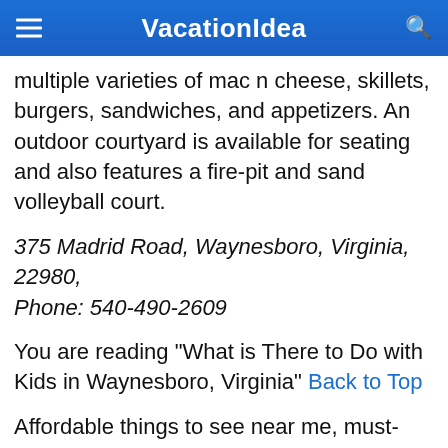VacationIdea
multiple varieties of mac n cheese, skillets, burgers, sandwiches, and appetizers. An outdoor courtyard is available for seating and also features a fire-pit and sand volleyball court.
375 Madrid Road, Waynesboro, Virginia, 22980, Phone: 540-490-2609
You are reading "What is There to Do with Kids in Waynesboro, Virginia" Back to Top
Affordable things to see near me, must-visit